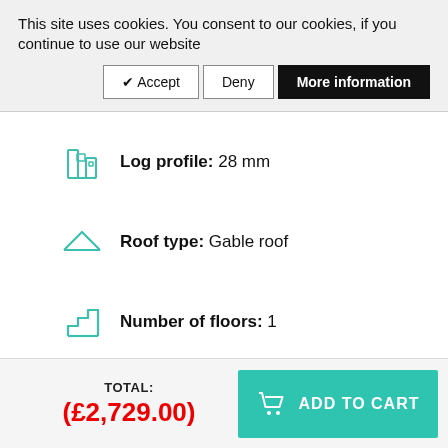This site uses cookies. You consent to our cookies, if you continue to use our website
✔ Accept | Deny | More information
Log profile:  28 mm
Roof type:  Gable roof
Number of floors:  1
TOTAL: (£2,729.00)
ADD TO CART